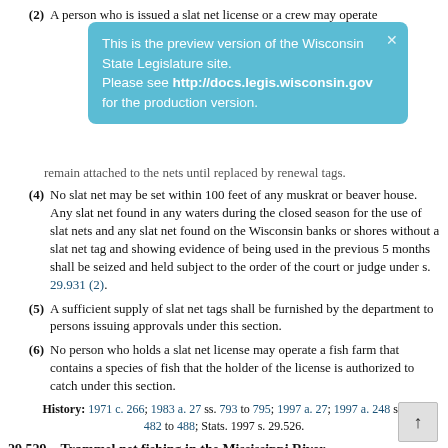(2) A person who is issued a slat net license or a crew may operate
[Figure (screenshot): Preview banner overlay: 'This is the preview version of the Wisconsin State Legislature site. Please see http://docs.legis.wisconsin.gov for the production version.']
remain attached to the nets until replaced by renewal tags.
(4) No slat net may be set within 100 feet of any muskrat or beaver house. Any slat net found in any waters during the closed season for the use of slat nets and any slat net found on the Wisconsin banks or shores without a slat net tag and showing evidence of being used in the previous 5 months shall be seized and held subject to the order of the court or judge under s. 29.931 (2).
(5) A sufficient supply of slat net tags shall be furnished by the department to persons issuing approvals under this section.
(6) No person who holds a slat net license may operate a fish farm that contains a species of fish that the holder of the license is authorized to catch under this section.
History: 1971 c. 266; 1983 a. 27 ss. 793 to 795; 1997 a. 27; 1997 a. 248 ss. 482 to 488; Stats. 1997 s. 29.526.
29.529 Trammel net fishing in the Mississippi River.
(1) The department may issue a trammel net license to any resident who applies for this license.